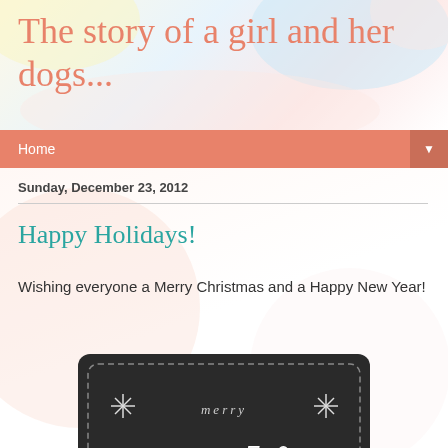The story of a girl and her dogs...
Home
Sunday, December 23, 2012
Happy Holidays!
Wishing everyone a Merry Christmas and a Happy New Year!
[Figure (photo): Chalkboard style holiday greeting card with decorative lettering reading 'Merry Everything!']